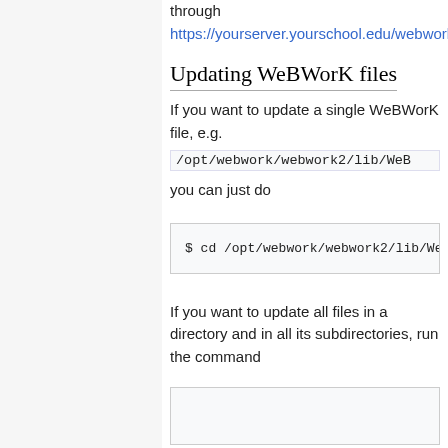through https://yourserver.yourschool.edu/webwork2/.
Updating WeBWorK files
If you want to update a single WeBWorK file, e.g.
/opt/webwork/webwork2/lib/WeB
you can just do
$ cd /opt/webwork/webwork2/lib/We
$ sudo cvs update FilterRecords.pm
If you want to update all files in a directory and in all its subdirectories, run the command